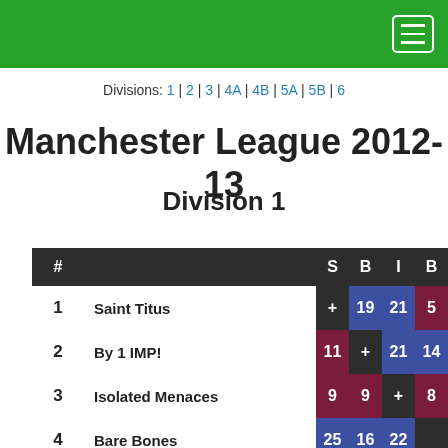Manchester League 2012-13 navigation header
Divisions: 1 | 2 | 3 | 4A | 4B | 5A | 5B | 6
Manchester League 2012-13
Division 1
| # |  | S | B | I | B |
| --- | --- | --- | --- | --- | --- |
| 1 | Saint Titus | + | 19 | 21 | 5 |
| 2 | By 1 IMP! | 11 | + | 21 | 14 |
| 3 | Isolated Menaces | 9 | 9 | + | 8 |
| 4 | Bare Bones | 25 | 16 | 22 |  |